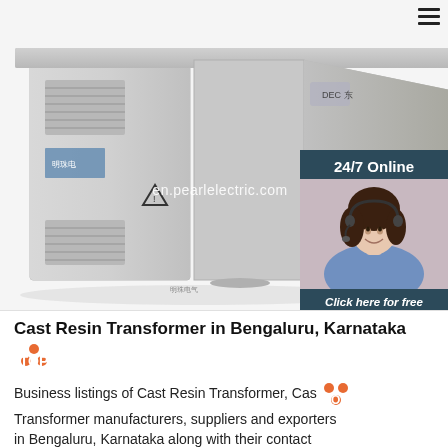[Figure (photo): Gray modular electrical transformer/substation unit with ventilation grilles and Chinese characters on the side, with en.pearlelectric.com watermark. A 24/7 online customer service panel is overlaid on the right side showing a woman with headset, 'Click here for free chat!' text, and an orange QUOTATION button.]
Cast Resin Transformer in Bengaluru, Karnataka
Business listings of Cast Resin Transformer, Cast Transformer manufacturers, suppliers and exporters in Bengaluru, Karnataka along with their contact details & address. Find here Cast Resin Transformer